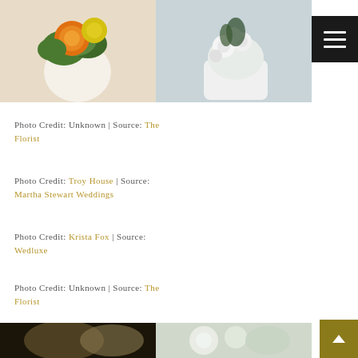[Figure (photo): Two flower arrangement photos side by side: left shows orange and yellow chrysanthemums in a white vase; right shows white chrysanthemums in a white decorative vase]
Photo Credit: Unknown | Source: The Florist
Photo Credit: Troy House | Source: Martha Stewart Weddings
Photo Credit: Krista Fox | Source: Wedluxe
Photo Credit: Unknown | Source: The Florist
[Figure (photo): Two more flower arrangement photos partially visible at bottom of page]